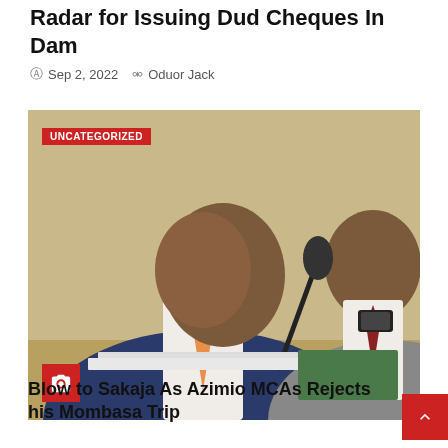Radar for Issuing Dud Cheques In Dam
Sep 2, 2022   Oduor Jack
[Figure (photo): Two men in suits seated at a table with a microphone. The man in the foreground wears a navy blue suit with an orange tie. The man behind him wears a grey suit. An UNCATEGORIZED badge appears top-left and a camera icon badge appears bottom-left of the photo.]
Blow to Sakaja As Azimio MCAs Rejects his Mombasa Trip